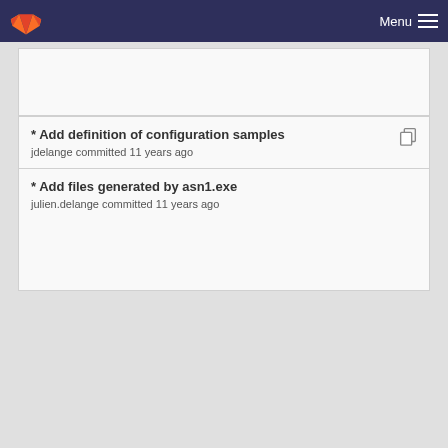Menu
* Add definition of configuration samples
jdelange committed 11 years ago
* Add files generated by asn1.exe
julien.delange committed 11 years ago